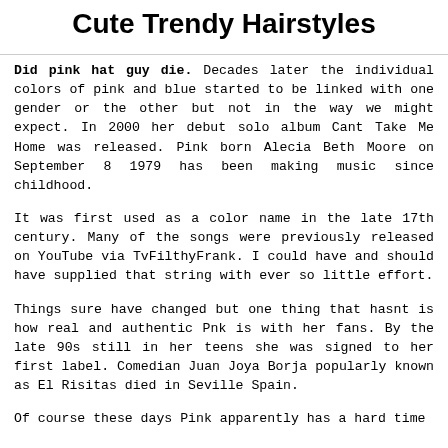Cute Trendy Hairstyles
Did pink hat guy die. Decades later the individual colors of pink and blue started to be linked with one gender or the other but not in the way we might expect. In 2000 her debut solo album Cant Take Me Home was released. Pink born Alecia Beth Moore on September 8 1979 has been making music since childhood.
It was first used as a color name in the late 17th century. Many of the songs were previously released on YouTube via TvFilthyFrank. I could have and should have supplied that string with ever so little effort.
Things sure have changed but one thing that hasnt is how real and authentic Pnk is with her fans. By the late 90s still in her teens she was signed to her first label. Comedian Juan Joya Borja popularly known as El Risitas died in Seville Spain.
Of course these days Pink apparently has a hard time